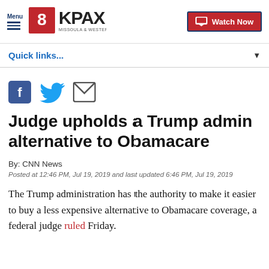Menu | 8KPAX MISSOULA & WESTERN MONTANA | Watch Now
Quick links...
[Figure (other): Social share icons: Facebook, Twitter, Email]
Judge upholds a Trump admin alternative to Obamacare
By: CNN News
Posted at 12:46 PM, Jul 19, 2019 and last updated 6:46 PM, Jul 19, 2019
The Trump administration has the authority to make it easier to buy a less expensive alternative to Obamacare coverage, a federal judge ruled Friday.